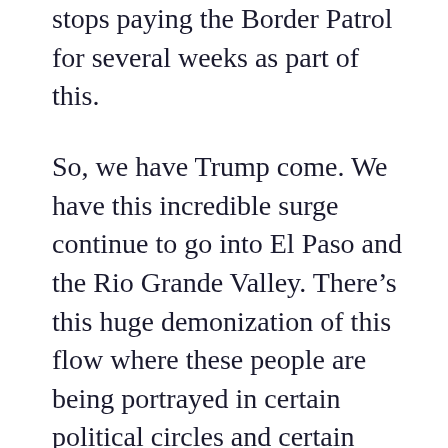stops paying the Border Patrol for several weeks as part of this.
So, we have Trump come. We have this incredible surge continue to go into El Paso and the Rio Grande Valley. There’s this huge demonization of this flow where these people are being portrayed in certain political circles and certain media circles as an invasion, all of this war-like language, all of this dehumanizing language coming up, much of it emanating from the White